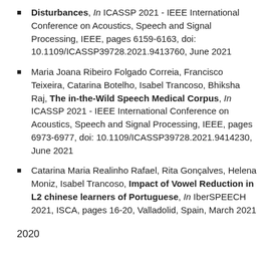Disturbances, In ICASSP 2021 - IEEE International Conference on Acoustics, Speech and Signal Processing, IEEE, pages 6159-6163, doi: 10.1109/ICASSP39728.2021.9413760, June 2021
Maria Joana Ribeiro Folgado Correia, Francisco Teixeira, Catarina Botelho, Isabel Trancoso, Bhiksha Raj, The in-the-Wild Speech Medical Corpus, In ICASSP 2021 - IEEE International Conference on Acoustics, Speech and Signal Processing, IEEE, pages 6973-6977, doi: 10.1109/ICASSP39728.2021.9414230, June 2021
Catarina Maria Realinho Rafael, Rita Gonçalves, Helena Moniz, Isabel Trancoso, Impact of Vowel Reduction in L2 chinese learners of Portuguese, In IberSPEECH 2021, ISCA, pages 16-20, Valladolid, Spain, March 2021
2020